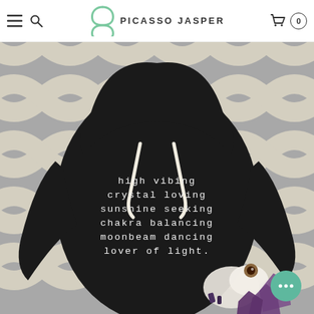PICASSO JASPER
[Figure (photo): Back view of a black hoodie sweatshirt laid flat on a geometric patterned rug, with white typewriter-style text reading: high vibing / crystal loving / sunshine seeking / chakra balancing / moonbeam dancing / lover of light. Crystals including white quartz and purple amethyst are placed in the lower right area of the image.]